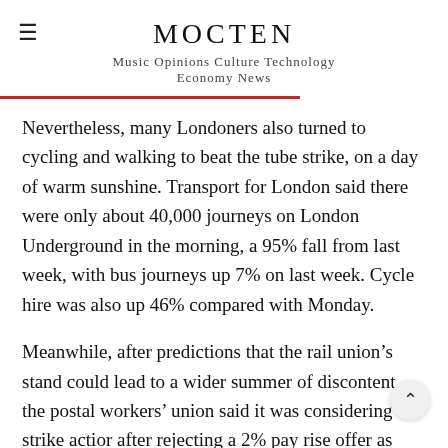MOCTEN
Music Opinions Culture Technology Economy News
Nevertheless, many Londoners also turned to cycling and walking to beat the tube strike, on a day of warm sunshine. Transport for London said there were only about 40,000 journeys on London Underground in the morning, a 95% fall from last week, with bus journeys up 7% on last week. Cycle hire was also up 46% compared with Monday.
Meanwhile, after predictions that the rail union's stand could lead to a wider summer of discontent, the postal workers' union said it was considering strike action after rejecting a 2% pay rise offer as “totally